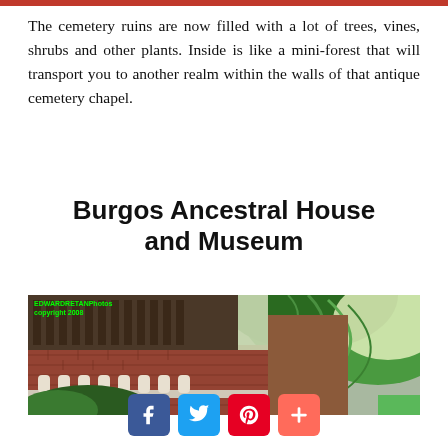The cemetery ruins are now filled with a lot of trees, vines, shrubs and other plants. Inside is like a mini-forest that will transport you to another realm within the walls of that antique cemetery chapel.
Burgos Ancestral House and Museum
[Figure (photo): Photo of the Burgos Ancestral House showing a colonial-era building with red brick walls, ornate white balustrades, wooden slatted upper floor, and lush green tropical palm fronds in the foreground. Watermark reads 'EDWARDRETANPhotos copyright 2008'.]
[Figure (other): Social media share buttons: Facebook (blue), Twitter (cyan), Pinterest (red), Plus/share (coral-red)]